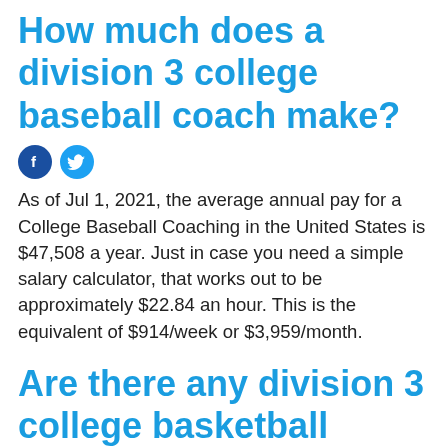How much does a division 3 college baseball coach make?
[Figure (other): Facebook and Twitter social share icons]
As of Jul 1, 2021, the average annual pay for a College Baseball Coaching in the United States is $47,508 a year. Just in case you need a simple salary calculator, that works out to be approximately $22.84 an hour. This is the equivalent of $914/week or $3,959/month.
Are there any division 3 college basketball coaches?
[Figure (other): Facebook and Twitter social share icons]